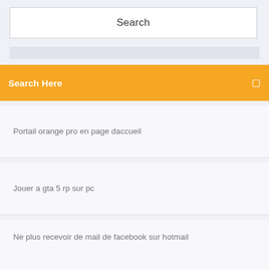[Figure (screenshot): Search input box with placeholder text 'Search']
Search Here
Portail orange pro en page daccueil
Jouer a gta 5 rp sur pc
Ne plus recevoir de mail de facebook sur hotmail